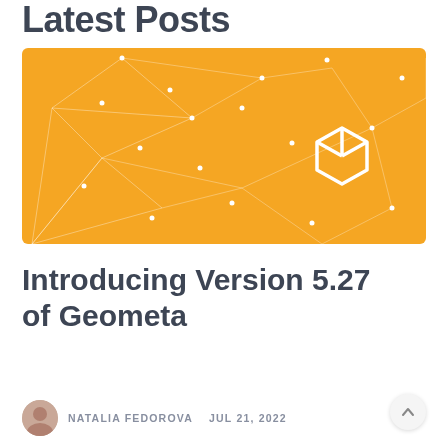Latest Posts
[Figure (illustration): Orange banner image with geometric triangular line patterns and white dots on an amber/golden background, featuring a white geometric cube/box logo icon in the center-right area.]
Introducing Version 5.27 of Geometa
NATALIA FEDOROVA   JUL 21, 2022